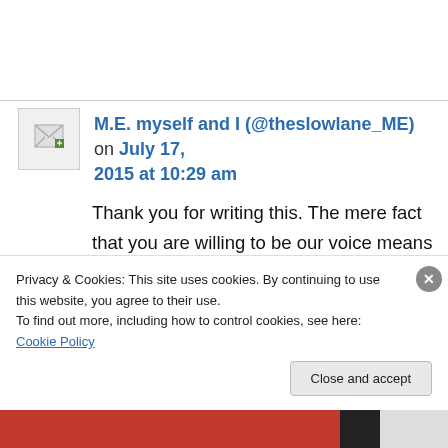M.E. myself and I (@theslowlane_ME) on July 17, 2015 at 10:29 am
Thank you for writing this. The mere fact that you are willing to be our voice means more than you can know. You are a very welcome drop in the ocean, so to speak. The ignorance and misunderstanding is so hurtful and harmful. Our reputation as ‘difficult’ patients goes before us,
Privacy & Cookies: This site uses cookies. By continuing to use this website, you agree to their use.
To find out more, including how to control cookies, see here: Cookie Policy
Close and accept